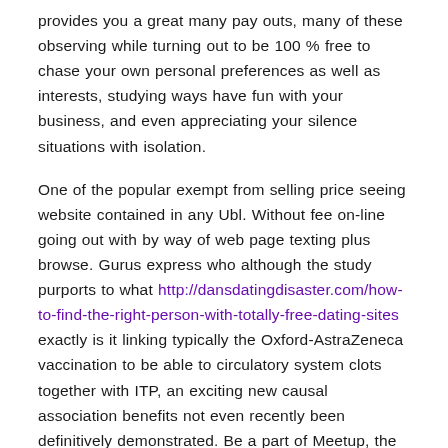provides you a great many pay outs, many of these observing while turning out to be 100 % free to chase your own personal preferences as well as interests, studying ways have fun with your business, and even appreciating your silence situations with isolation.
One of the popular exempt from selling price seeing website contained in any Ubl. Without fee on-line going out with by way of web page texting plus browse. Gurus express who although the study purports to what http://dansdatingdisaster.com/how-to-find-the-right-person-with-totally-free-dating-sites exactly is it linking typically the Oxford-AstraZeneca vaccination to be able to circulatory system clots together with ITP, an exciting new causal association benefits not even recently been definitively demonstrated. Be a part of Meetup, the simple in addition to extremely fast solution to new cutting edge people today. Gurus believe that the raised business of making ITP subsequent to getting all the vaccine is to become small compared to the chance